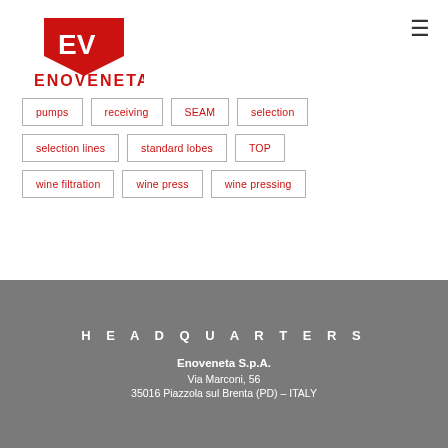[Figure (logo): Enoveneta logo: red EV emblem with shield shape above the text ENOVENETA in red]
pumps
receiving
SEAM
selection
selection lines
standard lobes
TOP
wine filtration
wine press
wine pressing
HEADQUARTERS
Enoveneta S.p.A.
Via Marconi, 56
35016 Piazzola sul Brenta (PD) – ITALY